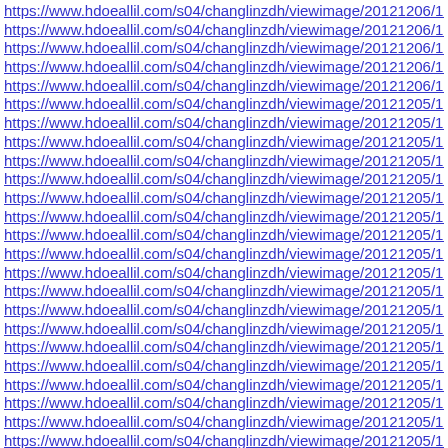https://www.hdoeallil.com/s04/changlinzdh/viewimage/20121206/16
https://www.hdoeallil.com/s04/changlinzdh/viewimage/20121206/16
https://www.hdoeallil.com/s04/changlinzdh/viewimage/20121206/16
https://www.hdoeallil.com/s04/changlinzdh/viewimage/20121206/16
https://www.hdoeallil.com/s04/changlinzdh/viewimage/20121206/16
https://www.hdoeallil.com/s04/changlinzdh/viewimage/20121205/16
https://www.hdoeallil.com/s04/changlinzdh/viewimage/20121205/16
https://www.hdoeallil.com/s04/changlinzdh/viewimage/20121205/16
https://www.hdoeallil.com/s04/changlinzdh/viewimage/20121205/16
https://www.hdoeallil.com/s04/changlinzdh/viewimage/20121205/16
https://www.hdoeallil.com/s04/changlinzdh/viewimage/20121205/16
https://www.hdoeallil.com/s04/changlinzdh/viewimage/20121205/16
https://www.hdoeallil.com/s04/changlinzdh/viewimage/20121205/16
https://www.hdoeallil.com/s04/changlinzdh/viewimage/20121205/16
https://www.hdoeallil.com/s04/changlinzdh/viewimage/20121205/16
https://www.hdoeallil.com/s04/changlinzdh/viewimage/20121205/16
https://www.hdoeallil.com/s04/changlinzdh/viewimage/20121205/16
https://www.hdoeallil.com/s04/changlinzdh/viewimage/20121205/16
https://www.hdoeallil.com/s04/changlinzdh/viewimage/20121205/16
https://www.hdoeallil.com/s04/changlinzdh/viewimage/20121205/16
https://www.hdoeallil.com/s04/changlinzdh/viewimage/20121205/16
https://www.hdoeallil.com/s04/changlinzdh/viewimage/20121205/16
https://www.hdoeallil.com/s04/changlinzdh/viewimage/20121205/16
https://www.hdoeallil.com/s04/changlinzdh/viewimage/20121205/16